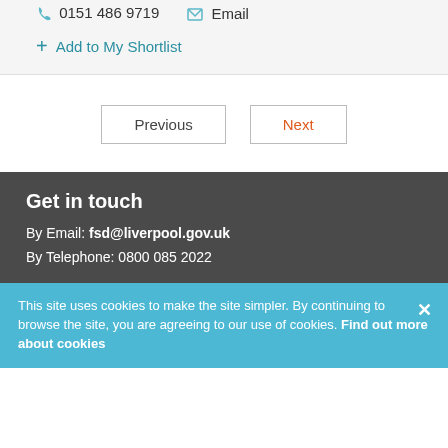0151 486 9719  Email
+ Add to My Shortlist
Previous  Next
Get in touch
By Email: fsd@liverpool.gov.uk
By Telephone: 0800 085 2022
This site uses cookies to make the site simpler. By continuing to browse the site, you are agreeing to our use of cookies. Find out more about cookies